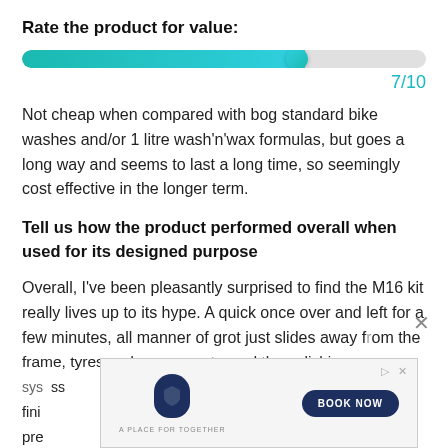Rate the product for value:
[Figure (other): Horizontal slider/progress bar showing rating 7/10, filled approximately 70% with teal/cyan gradient color]
7/10
Not cheap when compared with bog standard bike washes and/or 1 litre wash'n'wax formulas, but goes a long way and seems to last a long time, so seemingly cost effective in the longer term.
Tell us how the product performed overall when used for its designed purpose
Overall, I've been pleasantly surprised to find the M16 kit really lives up to its hype. A quick once over and left for a few minutes, all manner of grot just slides away from the frame, tyres and components, and the polishing system leaves a really nice gloss finish, presenting...
[Figure (other): Advertisement banner for 'A Place For Together' with a dark blue shield logo, tagline 'A PLACE FOR TOGETHER', and a 'BOOK NOW' button. Also shows a close X button in top right.]